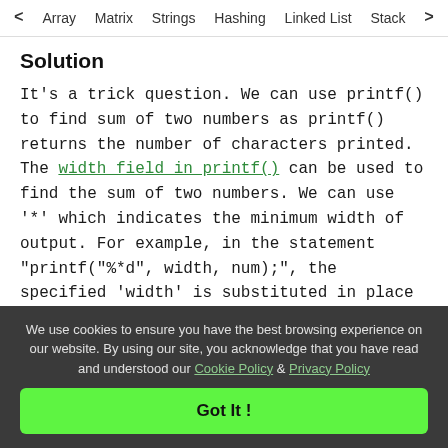< Array  Matrix  Strings  Hashing  Linked List  Stack >
Solution
It's a trick question. We can use printf() to find sum of two numbers as printf() returns the number of characters printed. The width field in printf() can be used to find the sum of two numbers. We can use '*' which indicates the minimum width of output. For example, in the statement "printf("%*d", width, num);", the specified 'width' is substituted in place of *, and 'num' is printed within the minimum width
We use cookies to ensure you have the best browsing experience on our website. By using our site, you acknowledge that you have read and understood our Cookie Policy & Privacy Policy
Got It !